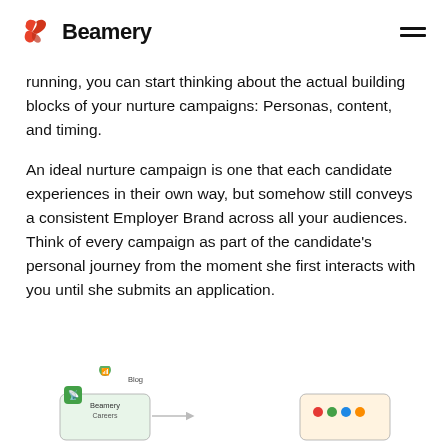Beamery
running, you can start thinking about the actual building blocks of your nurture campaigns: Personas, content, and timing.
An ideal nurture campaign is one that each candidate experiences in their own way, but somehow still conveys a consistent Employer Brand across all your audiences. Think of every campaign as part of the candidate's personal journey from the moment she first interacts with you until she submits an application.
Example of a nurture campaign flow
[Figure (screenshot): Partial screenshot of a nurture campaign flow diagram showing connected elements and icons.]